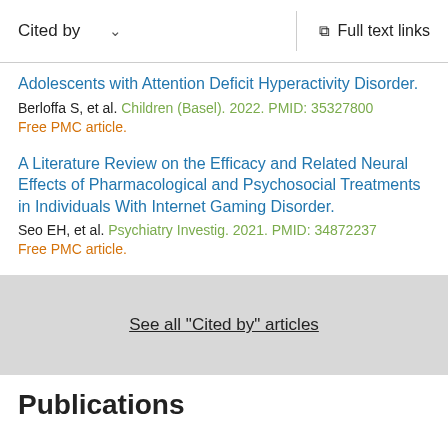Cited by  ∨    Full text links
Adolescents with Attention Deficit Hyperactivity Disorder.
Berloffa S, et al. Children (Basel). 2022. PMID: 35327800
Free PMC article.
A Literature Review on the Efficacy and Related Neural Effects of Pharmacological and Psychosocial Treatments in Individuals With Internet Gaming Disorder.
Seo EH, et al. Psychiatry Investig. 2021. PMID: 34872237
Free PMC article.
See all "Cited by" articles
Publications